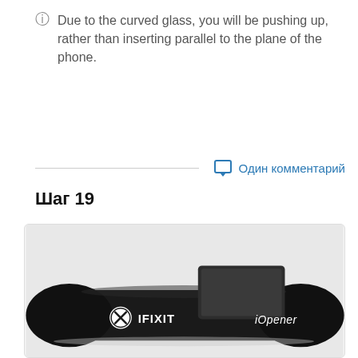Due to the curved glass, you will be pushing up, rather than inserting parallel to the plane of the phone.
Один комментарий
Шаг 19
[Figure (photo): Photo of an iFixit iOpener heating bag resting on a dark smartphone, with the iFixit logo and 'iOpener' text visible on the black cylindrical bag.]